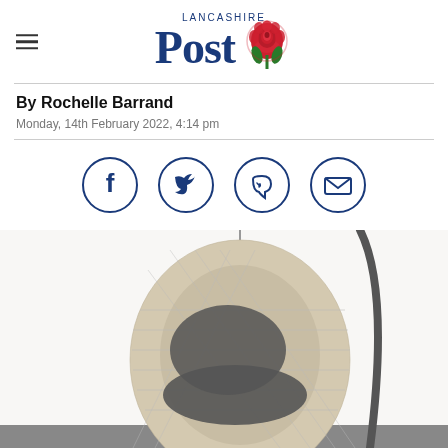Lancashire Post
By Rochelle Barrand
Monday, 14th February 2022, 4:14 pm
[Figure (infographic): Social share buttons: Facebook, Twitter, WhatsApp, Email — dark blue circle icons]
[Figure (photo): Hanging egg/pod chair made of wicker/rattan weave with dark grey cushion, suspended from a metal stand frame, partially cropped at bottom]